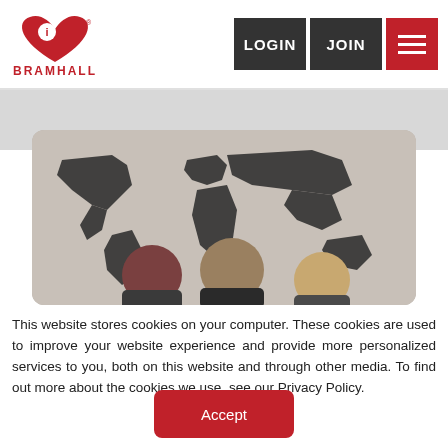[Figure (logo): Bramhall logo: red heart with white 'i' and red text BRAMHALL below]
[Figure (screenshot): Navigation bar with LOGIN and JOIN dark buttons and red hamburger menu button]
[Figure (photo): Photo of three people (two women, one man) standing in front of a world map wall mural]
This website stores cookies on your computer. These cookies are used to improve your website experience and provide more personalized services to you, both on this website and through other media. To find out more about the cookies we use, see our Privacy Policy.
[Figure (other): Red Accept button]